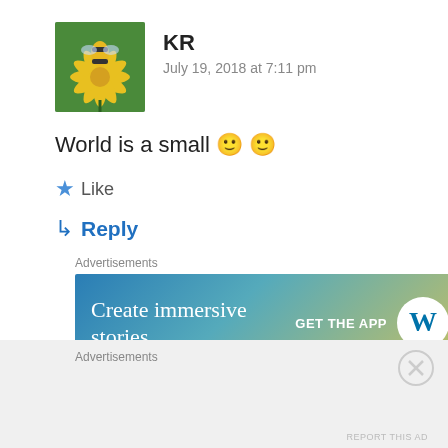[Figure (photo): Avatar photo of user KR showing a bee on a yellow flower]
KR
July 19, 2018 at 7:11 pm
World is a small 🙂 🙂
★ Like
↳ Reply
Advertisements
[Figure (infographic): WordPress advertisement banner: Create immersive stories. GET THE APP with WordPress logo]
REPORT THIS AD
[Figure (photo): Avatar photo of user LEYLA showing white flowers]
LEYLA
Advertisements
REPORT THIS AD